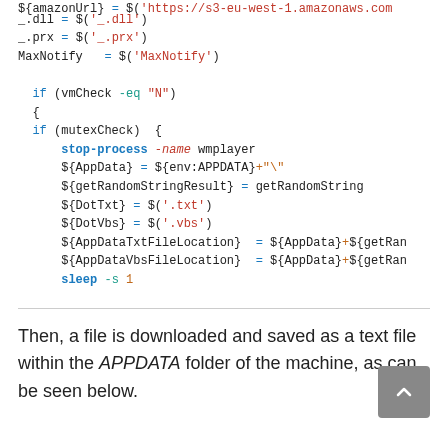[Figure (screenshot): Code block showing PowerShell script excerpt with syntax highlighting. Variables like ${amazonUrl}, _.dll, _.prx, MaxNotify assigned using $() notation, followed by an if block checking vmCheck -eq N, inner if checking mutexCheck, stop-process -name wmplayer, AppData, getRandomStringResult, DotTxt, DotVbs, AppDataTxtFileLocation, AppDataVbsFileLocation assignments, and sleep -s 1.]
Then, a file is downloaded and saved as a text file within the APPDATA folder of the machine, as can be seen below.